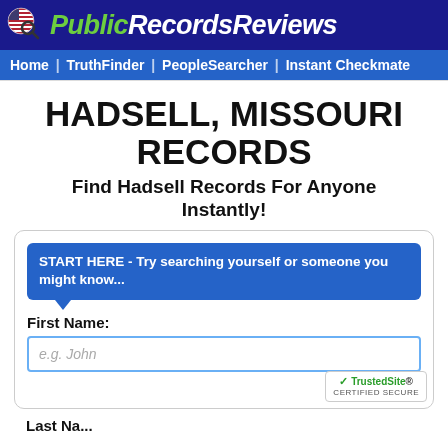PublicRecordsReviews
Home | TruthFinder | PeopleSearcher | Instant Checkmate
HADSELL, MISSOURI RECORDS
Find Hadsell Records For Anyone Instantly!
START HERE - Try searching yourself or someone you might know...
First Name:
e.g. John
Last Na...